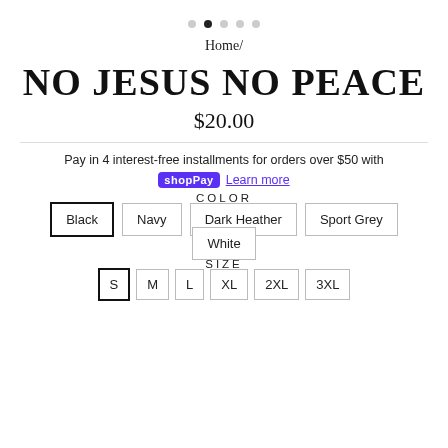[Figure (other): Image carousel pagination dots, 5 dots with second dot active/filled]
Home/
NO JESUS NO PEACE
$20.00
Pay in 4 interest-free installments for orders over $50 with shop Pay Learn more
COLOR
Black (selected)
Navy
Dark Heather
Sport Grey
White
SIZE
S (selected)
M
L
XL
2XL
3XL